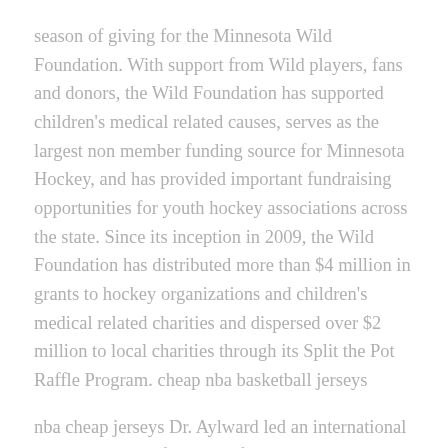season of giving for the Minnesota Wild Foundation. With support from Wild players, fans and donors, the Wild Foundation has supported children's medical related causes, serves as the largest non member funding source for Minnesota Hockey, and has provided important fundraising opportunities for youth hockey associations across the state. Since its inception in 2009, the Wild Foundation has distributed more than $4 million in grants to hockey organizations and children's medical related charities and dispersed over $2 million to local charities through its Split the Pot Raffle Program. cheap nba basketball jerseys
nba cheap jerseys Dr. Aylward led an international team right to the frontline of where this all began Wuhan,